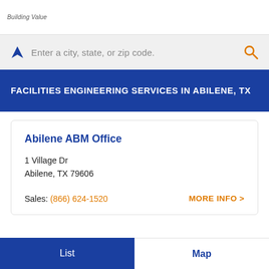Building Value
Enter a city, state, or zip code.
FACILITIES ENGINEERING SERVICES IN ABILENE, TX
Abilene ABM Office
1 Village Dr
Abilene, TX 79606
Sales: (866) 624-1520
MORE INFO >
List   Map